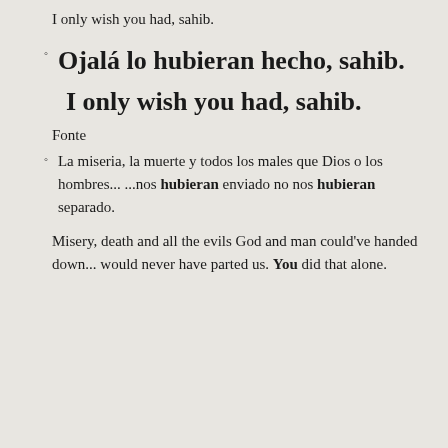I only wish you had, sahib.
Ojalá lo hubieran hecho, sahib.
I only wish you had, sahib.
Fonte
La miseria, la muerte y todos los males que Dios o los hombres... ...nos hubieran enviado no nos hubieran separado.
Misery, death and all the evils God and man could've handed down... would never have parted us. You did that alone.